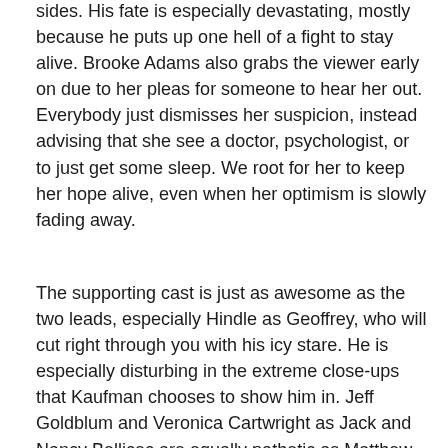sides. His fate is especially devastating, mostly because he puts up one hell of a fight to stay alive. Brooke Adams also grabs the viewer early on due to her pleas for someone to hear her out. Everybody just dismisses her suspicion, instead advising that she see a doctor, psychologist, or to just get some sleep. We root for her to keep her hope alive, even when her optimism is slowly fading away.
The supporting cast is just as awesome as the two leads, especially Hindle as Geoffrey, who will cut right through you with his icy stare. He is especially disturbing in the extreme close-ups that Kaufman chooses to show him in. Jeff Goldblum and Veronica Cartwright as Jack and Nancy Bellicec are equally pathetic as Matthew and Elizabeth. They form an alliance with Matthew and Elizabeth in trying